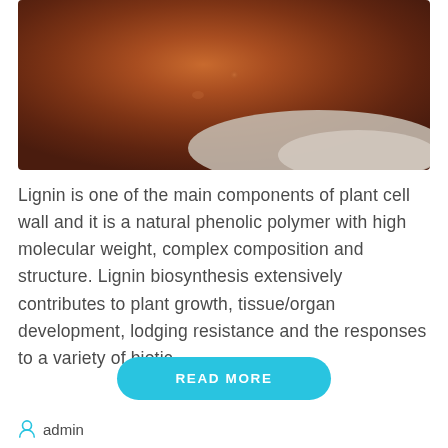[Figure (photo): Close-up photograph of a mound of brown lignin powder against a white background]
Lignin is one of the main components of plant cell wall and it is a natural phenolic polymer with high molecular weight, complex composition and structure. Lignin biosynthesis extensively contributes to plant growth, tissue/organ development, lodging resistance and the responses to a variety of biotic ...
READ MORE
admin